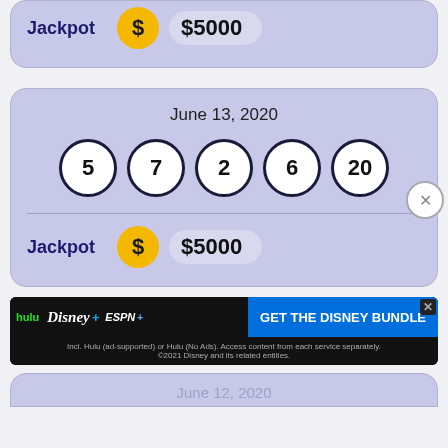[Figure (screenshot): Top partial lottery card showing Jackpot row with dollar circle and $5000 amount on purple/lavender background]
Jackpot   $  $5000
[Figure (screenshot): Full lottery card for June 13, 2020 showing balls 5, 7, 2, 6, 20 and Jackpot $5000 on purple/lavender background]
June 13, 2020
5  7  2  6  20
Jackpot   $  $5000
[Figure (screenshot): Disney Bundle advertisement banner: hulu Disney+ ESPN+ GET THE DISNEY BUNDLE]
GET THE DISNEY BUNDLE
Incl. Hulu (ad-supported) or Hulu (No Ads). Access content from each service separately. ©2021 Disney and its related entities.
June 12, 2020